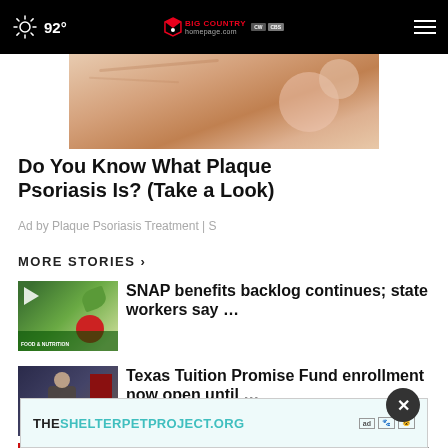92° | Big Country Homepage | Navigation
[Figure (photo): Close-up skin photo for plaque psoriasis advertisement]
Do You Know What Plaque Psoriasis Is? (Take a Look)
Ad by Plaque Psoriasis Treatment | S
MORE STORIES ›
[Figure (photo): Thumbnail for SNAP benefits story showing food items and play button]
SNAP benefits backlog continues; state workers say …
[Figure (photo): Thumbnail for Texas Tuition Promise Fund story showing a person speaking]
Texas Tuition Promise Fund enrollment now open until …
[Figure (photo): Partial thumbnail for third story with red background]
ash
[Figure (screenshot): Bottom banner advertisement for TheShelterpetproject.org]